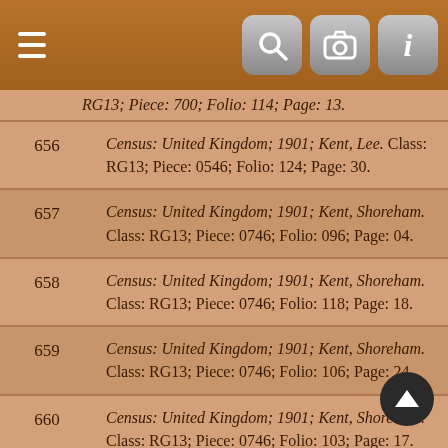Navigation bar with menu, search, camera, and info icons
| # | Citation |
| --- | --- |
| 656 | Census: United Kingdom; 1901; Kent, Lee. Class: RG13; Piece: 0546; Folio: 124; Page: 30. |
| 657 | Census: United Kingdom; 1901; Kent, Shoreham. Class: RG13; Piece: 0746; Folio: 096; Page: 04. |
| 658 | Census: United Kingdom; 1901; Kent, Shoreham. Class: RG13; Piece: 0746; Folio: 118; Page: 18. |
| 659 | Census: United Kingdom; 1901; Kent, Shoreham. Class: RG13; Piece: 0746; Folio: 106; Page: 24. |
| 660 | Census: United Kingdom; 1901; Kent, Shoreham. Class: RG13; Piece: 0746; Folio: 103; Page: 17. |
| 661 | Census: United Kingdom; 1901; Kent, Sittingbourne. Class: RG13; Piece: 0811; Folio: 128; Page: 01. |
| 662 | Census: United Kingdom; 1901; Kent, St. Paul's |